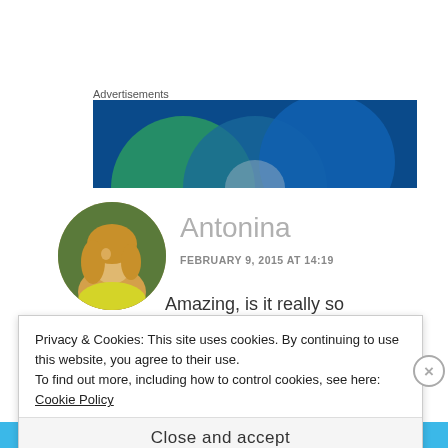Advertisements
[Figure (illustration): Advertisement banner with overlapping blue and green circles on a dark blue background]
[Figure (photo): Circular profile photo of a woman with blonde hair wearing a yellow outfit outdoors]
Antonina
FEBRUARY 9, 2015 AT 14:19
Amazing, is it really so
Privacy & Cookies: This site uses cookies. By continuing to use this website, you agree to their use.
To find out more, including how to control cookies, see here: Cookie Policy
Close and accept
BROWSING